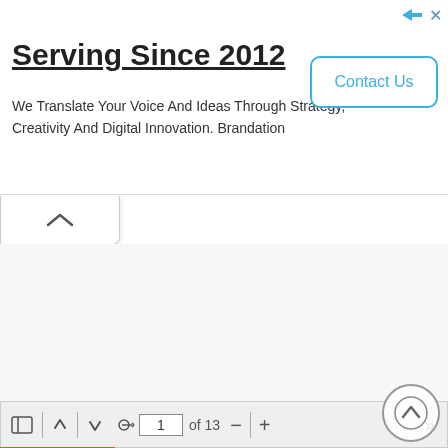[Figure (screenshot): Advertisement banner: 'Serving Since 2012' with tagline 'We Translate Your Voice And Ideas Through Strategy, Creativity And Digital Innovation. Brandation' and a 'Contact Us' button]
[Figure (screenshot): Web UI showing a collapse/hide tab with an up-arrow chevron icon below the advertisement]
[Figure (screenshot): PDF viewer toolbar showing navigation controls: sidebar icon, up arrow, down arrow, shrink icon, page input '1 of 13', minus, pipe, plus buttons, and double-right chevron. Below is a PDF page with grid/table content partially visible. Orange progress bar at top of viewer. Back-to-top circular button at bottom right.]